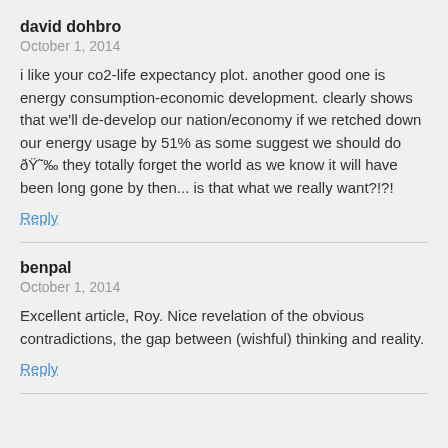david dohbro
October 1, 2014
i like your co2-life expectancy plot. another good one is energy consumption-economic development. clearly shows that we'll de-develop our nation/economy if we retched down our energy usage by 51% as some suggest we should do 😮 they totally forget the world as we know it will have been long gone by then... is that what we really want?!?!
Reply
benpal
October 1, 2014
Excellent article, Roy. Nice revelation of the obvious contradictions, the gap between (wishful) thinking and reality.
Reply